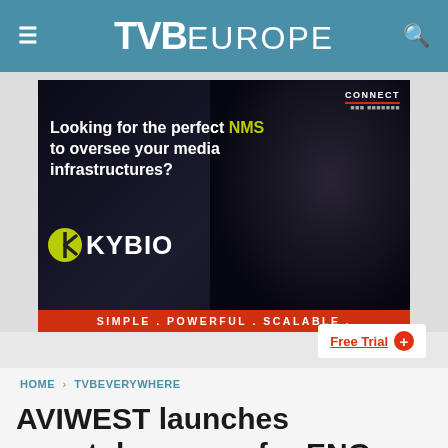TVB EUROPE
[Figure (illustration): KYBIO advertisement banner. Dark background with person silhouette. Text: 'Looking for the perfect NMS to oversee your media infrastructures?' with KYBIO logo. Bottom bar: 'SIMPLE . POWERFUL . SCALABLE .' with 'Free Trial +' button. CONNECT label top right.]
HOME > TVBEVERYWHERE
AVIWEST launches smartphone app for ENG